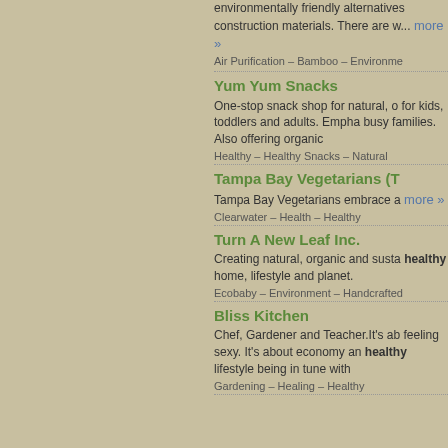environmentally friendly alternatives construction materials. There are w... more »
Air Purification – Bamboo – Environme
Yum Yum Snacks
One-stop snack shop for natural, o for kids, toddlers and adults. Empha busy families. Also offering organic
Healthy – Healthy Snacks – Natural
Tampa Bay Vegetarians (T
Tampa Bay Vegetarians embrace a more »
Clearwater – Health – Healthy
Turn A New Leaf Inc.
Creating natural, organic and susta healthy home, lifestyle and planet.
Ecobaby – Environment – Handcrafted
Bliss Kitchen
Chef, Gardener and Teacher.It's ab feeling sexy. It's about economy an healthy lifestyle being in tune with
Gardening – Healing – Healthy